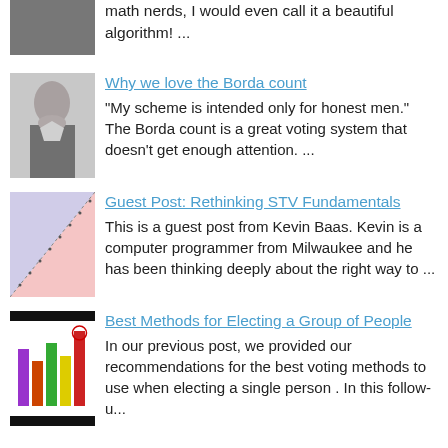math nerds, I would even call it a beautiful algorithm! ...
[Figure (photo): Partial image of a person, cropped at top]
Why we love the Borda count
[Figure (photo): Historical portrait of a man in 18th century attire (Borda)]
"My scheme is intended only for honest men." The Borda count is a great voting system that doesn't get enough attention. ...
Guest Post: Rethinking STV Fundamentals
[Figure (other): Geometric diagram with pink and purple shaded regions and dotted diagonal line]
This is a guest post from Kevin Baas.  Kevin is a computer programmer from Milwaukee and he has been thinking deeply about the right way to ...
Best Methods for Electing a Group of People
[Figure (bar-chart): Bar chart with colored bars (purple, orange, green, yellow, red) with a circled item at top, black header/footer bars]
In our previous post, we provided our recommendations for the best voting methods to use when electing a single person .  In this follow-u...